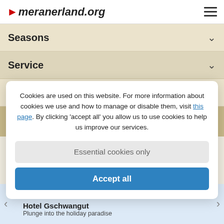meranerland.org
Seasons
Service
Tourism portals
Cookies are used on this website. For more information about cookies we use and how to manage or disable them, visit this page. By clicking 'accept all' you allow us to use cookies to help us improve our services.
Essential cookies only
Accept all
★ ★ ★ ★  Hotel Gschwangut  Plunge into the holiday paradise